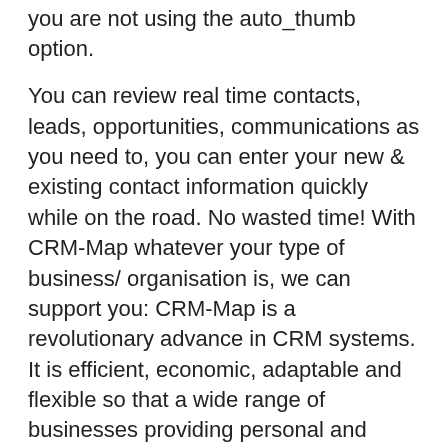you are not using the auto_thumb option.
You can review real time contacts, leads, opportunities, communications as you need to, you can enter your new & existing contact information quickly while on the road. No wasted time! With CRM-Map whatever your type of business/ organisation is, we can support you: CRM-Map is a revolutionary advance in CRM systems. It is efficient, economic, adaptable and flexible so that a wide range of businesses providing personal and professional services are using CRM-Map to support each of their specific needs.
your information is neatly organised, personalized to your business and industry